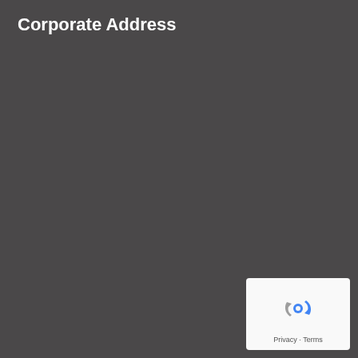Corporate Address
[Figure (logo): Google reCAPTCHA logo with Privacy and Terms links]